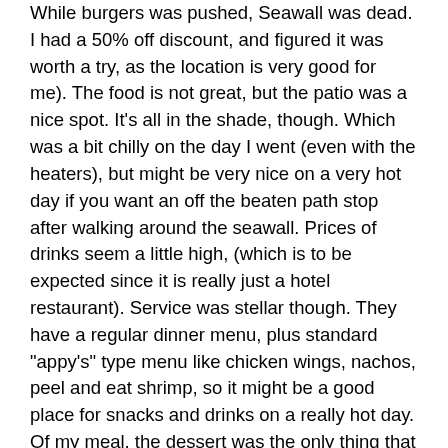While burgers was pushed, Seawall was dead. I had a 50% off discount, and figured it was worth a try, as the location is very good for me). The food is not great, but the patio was a nice spot. It's all in the shade, though. Which was a bit chilly on the day I went (even with the heaters), but might be very nice on a very hot day if you want an off the beaten path stop after walking around the seawall. Prices of drinks seem a little high, (which is to be expected since it is really just a hotel restaurant). Service was stellar though. They have a regular dinner menu, plus standard "appy's" type menu like chicken wings, nachos, peel and eat shrimp, so it might be a good place for snacks and drinks on a really hot day. Of my meal, the dessert was the only thing that was really good. The creme brulee was made in a very shallow wide dish - higher surface area to volume ratio, so you get more of the crispy caramelized sugar top. Yum. B52 ice cream served with it was unnecessary. My salmon entree was a bit like that too. Didn't seem like the different components were chosen because the flavours worked well together but instead picked by some sort of crap shoot, with the primary objective to make the menu description sound enticing (or at least they didn't work for me, salmon was with a decent citrus glaze, but the grapefruit segments, and watercress garnish, and somewhat bitter zucchini